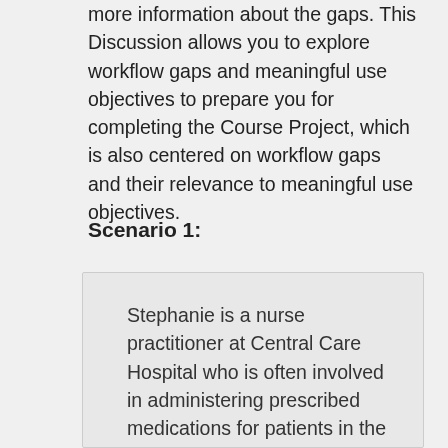more information about the gaps. This Discussion allows you to explore workflow gaps and meaningful use objectives to prepare you for completing the Course Project, which is also centered on workflow gaps and their relevance to meaningful use objectives.
Scenario 1:
Stephanie is a nurse practitioner at Central Care Hospital who is often involved in administering prescribed medications for patients in the general care ward. When a physician sees a patient, he or she uses the hospital's EHR system to document findings and recommendations for treatment, but submits medication and drug orders by faxing prescriptions to the hospital's